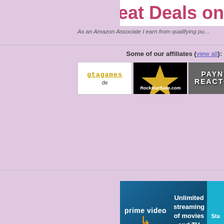[Figure (screenshot): Partial Amazon banner showing 'Great Deals on' text in pink on white background]
As an Amazon Associate I earn from qualifying purchases
Some of our affiliates (view all):
[Figure (screenshot): Row of affiliate logos: gtagames.de, RockstarBase.com, Payne Reactor, car image, partial logo]
[Figure (screenshot): Amazon Prime Video banner: Unlimited streaming of movies and TV shows]